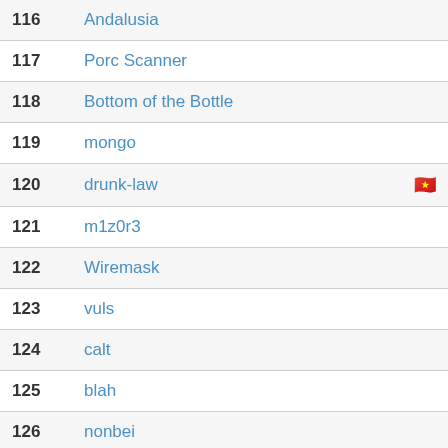116 Andalusia
117 Porc Scanner
118 Bottom of the Bottle
119 mongo
120 drunk-law
121 m1z0r3
122 Wiremask
123 vuls
124 calt
125 blah
126 nonbei
127 Honeypot